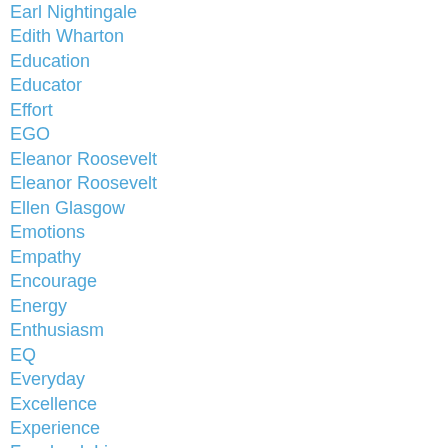Earl Nightingale
Edith Wharton
Education
Educator
Effort
EGO
Eleanor Roosevelt
Eleanor Roosevelt
Ellen Glasgow
Emotions
Empathy
Encourage
Energy
Enthusiasm
EQ
Everyday
Excellence
Experience
Facebook Live
Failure
Faith